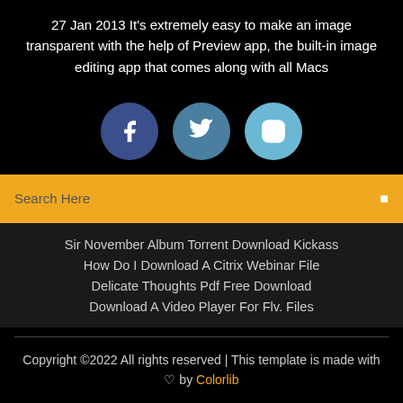27 Jan 2013 It's extremely easy to make an image transparent with the help of Preview app, the built-in image editing app that comes along with all Macs
[Figure (illustration): Three social media icon circles: Facebook (dark blue), Twitter (medium blue), Instagram (light blue)]
Search Here
Sir November Album Torrent Download Kickass
How Do I Download A Citrix Webinar File
Delicate Thoughts Pdf Free Download
Download A Video Player For Flv. Files
Copyright ©2022 All rights reserved | This template is made with ♡ by Colorlib